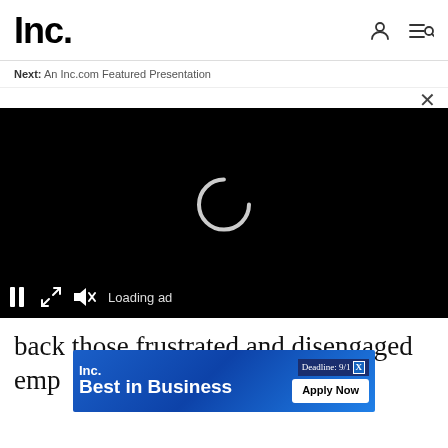Inc.
Next: An Inc.com Featured Presentation
[Figure (screenshot): Video player with black background showing a loading spinner and controls at bottom: pause button, expand button, mute button, and 'Loading ad' text. A close X button appears at top right of the overlay.]
back those frustrated and disengaged emp